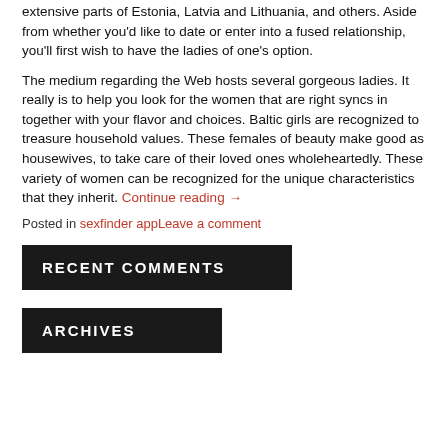extensive parts of Estonia, Latvia and Lithuania, and others. Aside from whether you'd like to date or enter into a fused relationship, you'll first wish to have the ladies of one's option.
The medium regarding the Web hosts several gorgeous ladies. It really is to help you look for the women that are right syncs in together with your flavor and choices. Baltic girls are recognized to treasure household values. These females of beauty make good as housewives, to take care of their loved ones wholeheartedly. These variety of women can be recognized for the unique characteristics that they inherit. Continue reading →
Posted in sexfinder appLeave a comment
RECENT COMMENTS
ARCHIVES